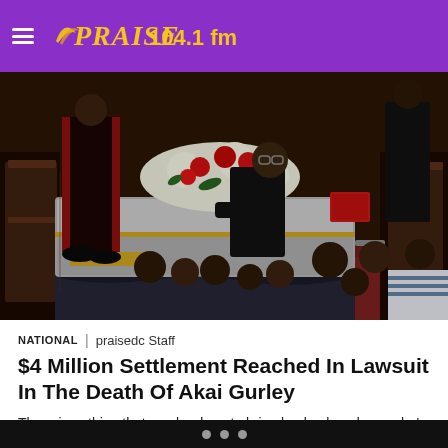PRAISE 104.1 fm
[Figure (photo): Funeral scene inside a church showing a casket with floral arrangements including red roses, mourners seated in pews, and a person leaning over the casket. A man in clerical robes with red trim stands at left. The setting appears to be a formal funeral service.]
NATIONAL | praisedc Staff
$4 Million Settlement Reached In Lawsuit In The Death Of Akai Gurley
There is nothing that can be done to bring back a loved one who's life was cut short, but these cases are a sign at the hope of